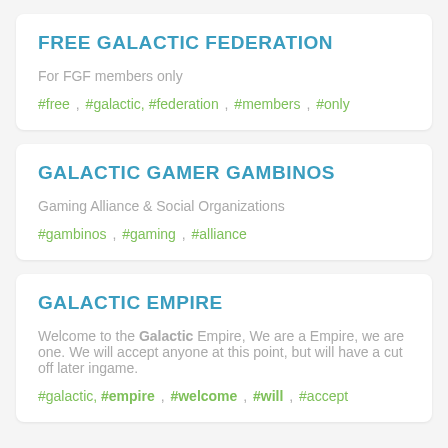FREE GALACTIC FEDERATION
For FGF members only
#free , #galactic, #federation , #members , #only
GALACTIC GAMER GAMBINOS
Gaming Alliance & Social Organizations
#gambinos , #gaming , #alliance
GALACTIC EMPIRE
Welcome to the Galactic Empire, We are a Empire, we are one. We will accept anyone at this point, but will have a cut off later ingame.
#galactic, #empire , #welcome , #will , #accept